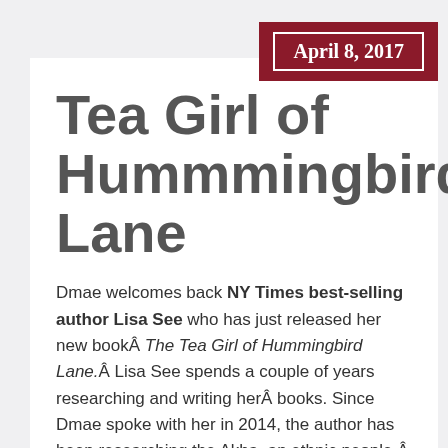April 8, 2017
Tea Girl of Hummmingbird Lane
Dmae welcomes back NY Times best-selling author Lisa See who has just released her new bookÂ The Tea Girl of Hummingbird Lane.Â Lisa See spends a couple of years researching and writing herÂ books. Since Dmae spoke with her in 2014, the author has been researching the Akha, an ethnic people Â in the Yunnan region